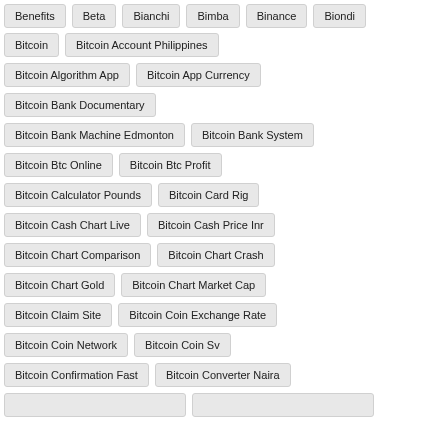Benefits
Beta
Bianchi
Bimba
Binance
Biondi
Bitcoin
Bitcoin Account Philippines
Bitcoin Algorithm App
Bitcoin App Currency
Bitcoin Bank Documentary
Bitcoin Bank Machine Edmonton
Bitcoin Bank System
Bitcoin Btc Online
Bitcoin Btc Profit
Bitcoin Calculator Pounds
Bitcoin Card Rig
Bitcoin Cash Chart Live
Bitcoin Cash Price Inr
Bitcoin Chart Comparison
Bitcoin Chart Crash
Bitcoin Chart Gold
Bitcoin Chart Market Cap
Bitcoin Claim Site
Bitcoin Coin Exchange Rate
Bitcoin Coin Network
Bitcoin Coin Sv
Bitcoin Confirmation Fast
Bitcoin Converter Naira